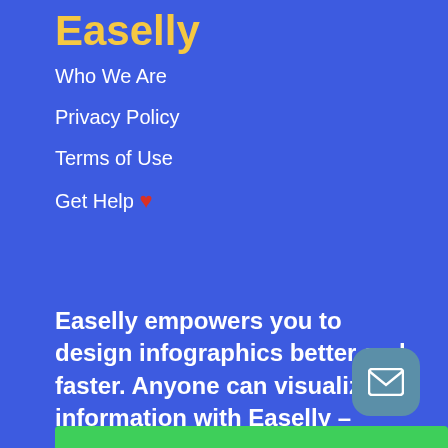Easelly
Who We Are
Privacy Policy
Terms of Use
Get Help ❤
Easelly empowers you to design infographics better and faster. Anyone can visualize information with Easelly – we're all in this together.
[Figure (other): Email/contact button icon with envelope symbol on rounded square blue button]
[Figure (other): Green bar at bottom of page]